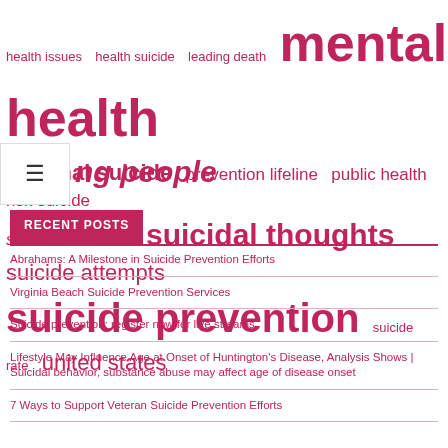[Figure (infographic): Word cloud with mental health and suicide prevention related terms in various pink/red font sizes]
RECENT POSTS
Abrahams: A Milestone in Suicide Prevention Efforts
Virginia Beach Suicide Prevention Services
Suicide prevention: register now for live streams
Lifestyle May Influence Age at Onset of Huntington's Disease, Analysis Shows | Suicidal behavior, substance abuse may affect age of disease onset
7 Ways to Support Veteran Suicide Prevention Efforts